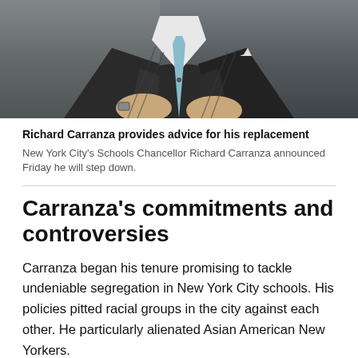[Figure (photo): A man in a dark pinstripe suit with a light blue tie, seated at a desk, hands folded, partially cropped photo showing torso and hands.]
Richard Carranza provides advice for his replacement
New York City's Schools Chancellor Richard Carranza announced Friday he will step down.
Carranza's commitments and controversies
Carranza began his tenure promising to tackle undeniable segregation in New York City schools. His policies pitted racial groups in the city against each other. He particularly alienated Asian American New Yorkers.
He and the mayor sometimes disagreed on how to